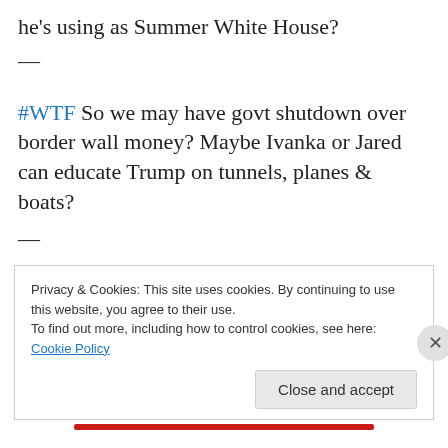he's using as Summer White House?
—
#WTF So we may have govt shutdown over border wall money? Maybe Ivanka or Jared can educate Trump on tunnels, planes & boats?
—
Just wonder what would happen if you told IRS, not
Privacy & Cookies: This site uses cookies. By continuing to use this website, you agree to their use.
To find out more, including how to control cookies, see here: Cookie Policy
Close and accept